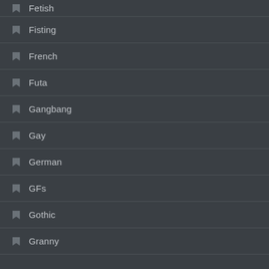Fetish
Fisting
French
Futa
Gangbang
Gay
German
GFs
Gothic
Granny